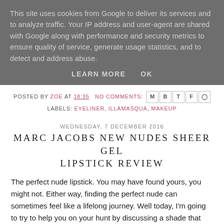This site uses cookies from Google to deliver its services and to analyze traffic. Your IP address and user-agent are shared with Google along with performance and security metrics to ensure quality of service, generate usage statistics, and to detect and address abuse.
LEARN MORE   OK
POSTED BY ZOE AT 18:35   NO COMMENTS:
LABELS: EYELINER, ILLAMASQUA, MAKEUP
WEDNESDAY, 7 DECEMBER 2016
MARC JACOBS NEW NUDES SHEER GEL LIPSTICK REVIEW
The perfect nude lipstick. You may have found yours, you might not. Either way, finding the perfect nude can sometimes feel like a lifelong journey. Well today, I'm going to try to help you on your hunt by discussing a shade that I've been roadtesting.
[Figure (photo): Partial view of lipstick product image in red tones at the bottom of the page]